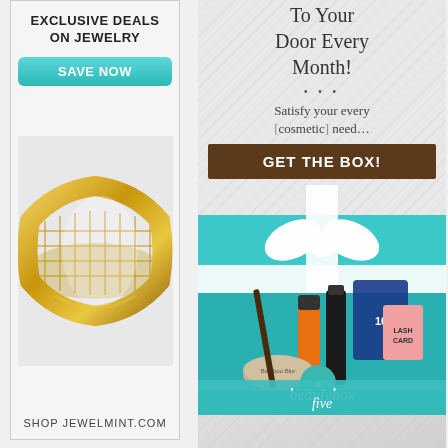[Figure (illustration): Left advertisement banner for JewelMint jewelry. White/gray background with text 'EXCLUSIVE DEALS ON JEWELRY', a teal 'SAVE NOW' button, a gold filigree/mesh bracelet photo, and footer text 'SHOP JEWELMINT.COM']
[Figure (illustration): Right advertisement for BeautyBox Five subscription service. Shows text 'To Your Door Every Month!', three dots, 'Satisfy your every [cosmetic] need...', a dark brown 'GET THE BOX!' button, a photo of a teal gift box with cosmetic products, and 'beautybox five' script text at bottom.]